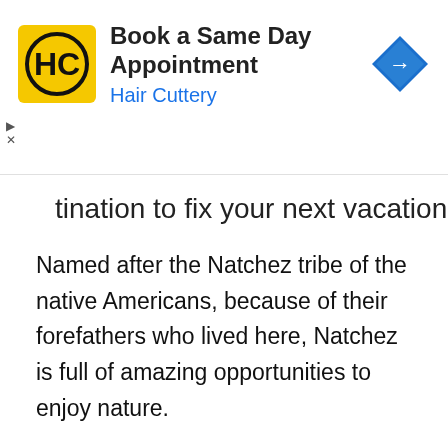[Figure (screenshot): Hair Cuttery advertisement banner: yellow square HC logo on left, bold text 'Book a Same Day Appointment' with blue 'Hair Cuttery' subtitle, blue navigation diamond arrow icon on right. Small play and X controls on far left.]
tination to fix your next vacation.
Named after the Natchez tribe of the native Americans, because of their forefathers who lived here, Natchez is full of amazing opportunities to enjoy nature.
Sights to explore and enjoy its beauty are countless and will leave you yearning for more!
Moreover, with views at every turn, it is a